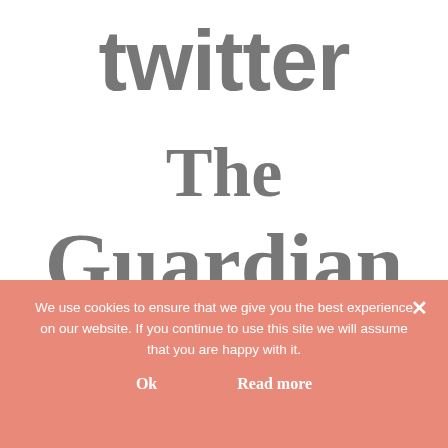[Figure (logo): Twitter logo in large bold gray lowercase text]
[Figure (logo): The Guardian logo in large bold gray serif text, two lines: 'The' and 'Guardian']
We use cookies to ensure that we give you the best experience on our website. If you continue to use this site we will assume that you are happy with it.
Ok
Read more